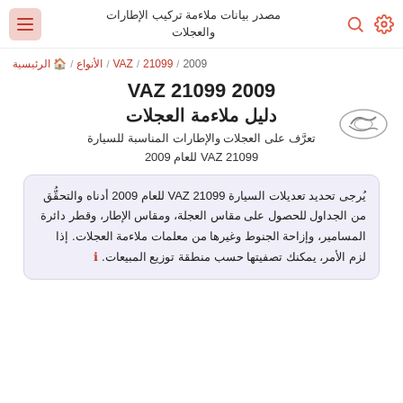مصدر بيانات ملاءمة تركيب الإطارات والعجلات
الرئيسية / الأنواع / VAZ / 21099 / 2009
VAZ 21099 2009 دليل ملاءمة العجلات
تعرَّف على العجلات والإطارات المناسبة للسيارة VAZ 21099 للعام 2009
يُرجى تحديد تعديلات السيارة VAZ 21099 للعام 2009 أدناه والتحقُّق من الجداول للحصول على مقاس العجلة، ومقاس الإطار، وقطر دائرة المسامير، وإزاحة الجنوط وغيرها من معلمات ملاءمة العجلات. إذا لزم الأمر، يمكنك تصفيتها حسب منطقة توزيع المبيعات.